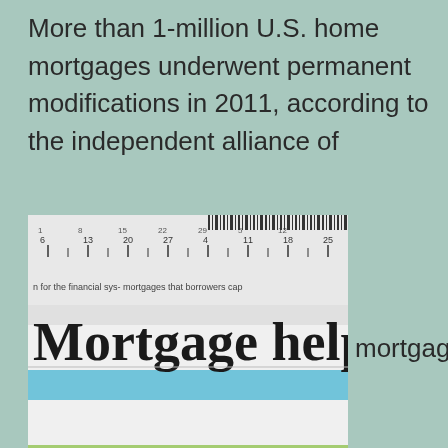More than 1-million U.S. home mortgages underwent permanent modifications in 2011, according to the independent alliance of
[Figure (photo): Photograph of stacked newspapers with headline reading 'Mortgage help' and partial text visible including 'mortgages that borrowers can' and 'for the financial sys-']
mortgage
servicers Hope Now. The figure represents a steep decline of 40% from a year ago, but outpaces the number of foreclosures sold